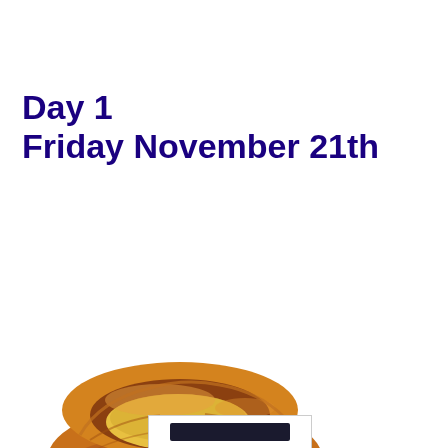Day 1
Friday November 21th
[Figure (photo): A golden-brown Yorkshire pudding viewed from a slightly elevated angle, showing its hollow cup interior with yellow base, set against a white background.]
[Figure (screenshot): Partial view of a dark rectangular bar at the bottom of the page, appears to be a navigation or toolbar element.]